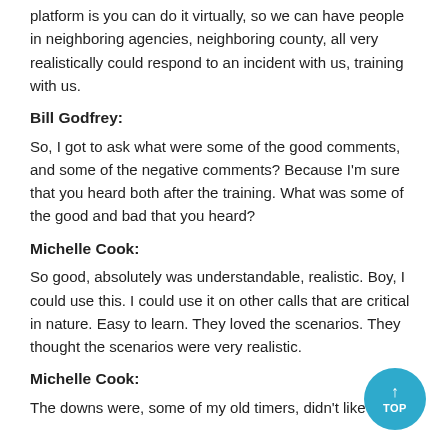platform is you can do it virtually, so we can have people in neighboring agencies, neighboring county, all very realistically could respond to an incident with us, training with us.
Bill Godfrey:
So, I got to ask what were some of the good comments, and some of the negative comments? Because I'm sure that you heard both after the training. What was some of the good and bad that you heard?
Michelle Cook:
So good, absolutely was understandable, realistic. Boy, I could use this. I could use it on other calls that are critical in nature. Easy to learn. They loved the scenarios. They thought the scenarios were very realistic.
Michelle Cook:
The downs were, some of my old timers, didn't like the